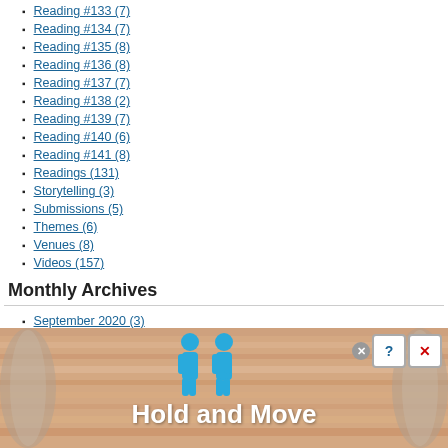Reading #133 (7)
Reading #134 (7)
Reading #135 (8)
Reading #136 (8)
Reading #137 (7)
Reading #138 (2)
Reading #139 (7)
Reading #140 (6)
Reading #141 (8)
Readings (131)
Storytelling (3)
Submissions (5)
Themes (6)
Venues (8)
Videos (157)
Monthly Archives
September 2020 (3)
August 2020 (9)
July 2020 (10)
June 2020 (2)
May 2020 (1)
[Figure (other): Advertisement banner showing Hold and Move app with two blue figures and close/info/X buttons]